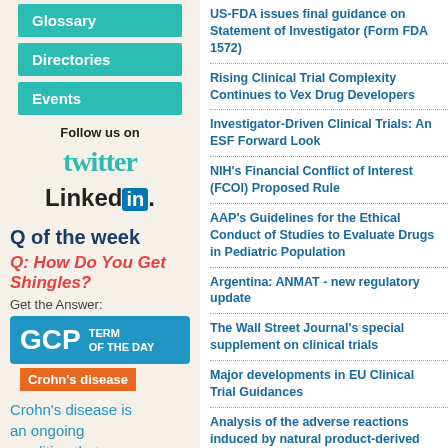Glossary
Directories
Events
Follow us on
[Figure (logo): Twitter logo in teal cursive-style font]
[Figure (logo): LinkedIn logo with 'Linked' in black and 'in' in blue box]
Q of the week
Q: How Do You Get Shingles?
Get the Answer:
[Figure (logo): GCP Term of the Day blue badge logo]
Crohn's disease
Crohn's disease is an ongoing condition that
US-FDA issues final guidance on Statement of Investigator (Form FDA 1572)
Rising Clinical Trial Complexity Continues to Vex Drug Developers
Investigator-Driven Clinical Trials: An ESF Forward Look
NIH's Financial Conflict of Interest (FCOI) Proposed Rule
AAP's Guidelines for the Ethical Conduct of Studies to Evaluate Drugs in Pediatric Population
Argentina: ANMAT - new regulatory update
The Wall Street Journal's special supplement on clinical trials
Major developments in EU Clinical Trial Guidances
Analysis of the adverse reactions induced by natural product-derived drugs
Newer Antibacterial Drugs for a New Century